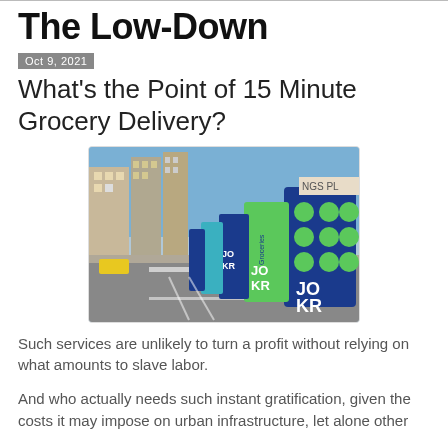The Low-Down
Oct 9, 2021
What's the Point of 15 Minute Grocery Delivery?
[Figure (photo): Street-level photo showing a row of JOKR grocery delivery kiosks/signs lined up along a city sidewalk, with tall buildings in the background and a street with lane markings visible.]
Such services are unlikely to turn a profit without relying on what amounts to slave labor.
And who actually needs such instant gratification, given the costs it may impose on urban infrastructure, let alone other